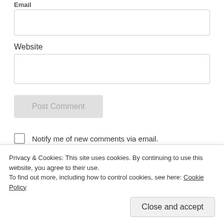Email
Website
Post Comment
Notify me of new comments via email.
Notify me of new posts via email.
Ron Walker on June 25, 2017 at 2:35 pm
Privacy & Cookies: This site uses cookies. By continuing to use this website, you agree to their use.
To find out more, including how to control cookies, see here: Cookie Policy
Close and accept